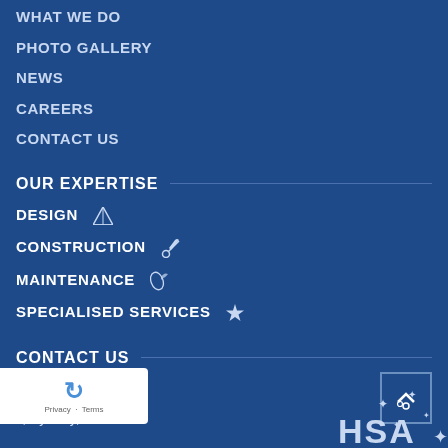WHAT WE DO
PHOTO GALLERY
NEWS
CAREERS
CONTACT US
OUR EXPERTISE
DESIGN
CONSTRUCTION
MAINTENANCE
SPECIALISED SERVICES
CONTACT US
589 Withers Road
ll, Sydney, NSW
[Figure (logo): HSA logo with stars in bottom right corner]
[Figure (other): reCAPTCHA privacy badge in bottom left]